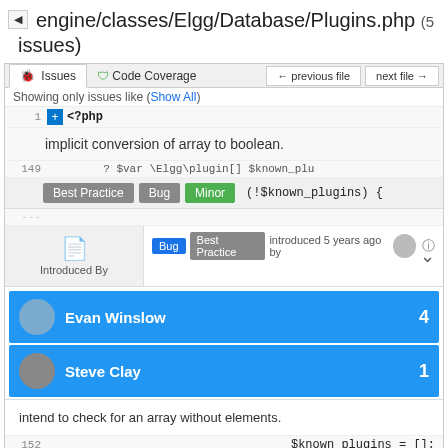engine/classes/Elgg/Database/Plugins.php (5 issues)
[Figure (screenshot): Code review interface showing issues panel for engine/classes/Elgg/Database/Plugins.php. Shows tabs for Issues and Code Coverage, navigation buttons, code line 1 with <?php, an implicit conversion of array to boolean warning, badge row with Best Practice, Bug, Minor labels, code with (!$known_plugins) {, and an Introduced By section showing Bug/Best Practice introduced 5 years ago. Authors listed: Evan Winslow (4 issues) and Steve Clay (1 issue). Comment: intend to check for an array without elements. Line 152 shows $known_plugins = [];]